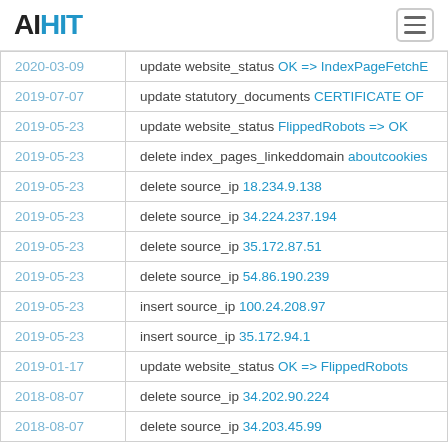AIHIT
| Date | Action |
| --- | --- |
| 2020-03-09 | update website_status OK => IndexPageFetchE |
| 2019-07-07 | update statutory_documents CERTIFICATE OF |
| 2019-05-23 | update website_status FlippedRobots => OK |
| 2019-05-23 | delete index_pages_linkeddomain aboutcookies |
| 2019-05-23 | delete source_ip 18.234.9.138 |
| 2019-05-23 | delete source_ip 34.224.237.194 |
| 2019-05-23 | delete source_ip 35.172.87.51 |
| 2019-05-23 | delete source_ip 54.86.190.239 |
| 2019-05-23 | insert source_ip 100.24.208.97 |
| 2019-05-23 | insert source_ip 35.172.94.1 |
| 2019-01-17 | update website_status OK => FlippedRobots |
| 2018-08-07 | delete source_ip 34.202.90.224 |
| 2018-08-07 | delete source_ip 34.203.45.99 |